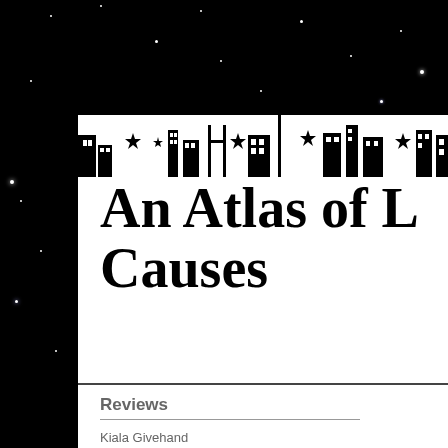[Figure (illustration): Book cover / page spread with a dark starry night sky background. A white content panel is visible on the right side with silhouetted city/building shapes along the top edge.]
An Atlas of L... Causes
Reviews
Kiala Givehand
Lingering Qu...